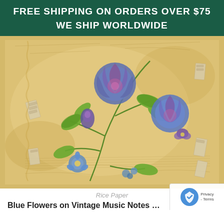FREE SHIPPING ON ORDERS OVER $75
WE SHIP WORLDWIDE
[Figure (photo): Vintage-style rice paper with blue and purple roses and small flowers on a golden aged background with handwritten music notes and cursive script]
Rice Paper
Blue Flowers on Vintage Music Notes Rice Pap…